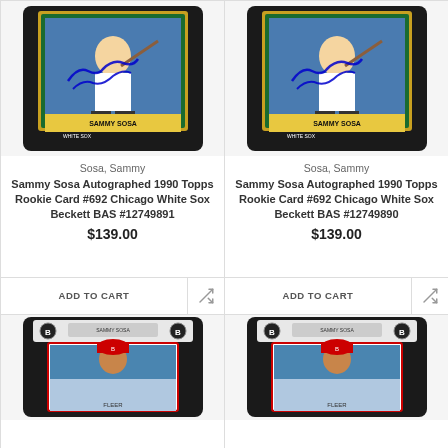[Figure (photo): Sammy Sosa autographed 1990 Topps rookie card #692 in Beckett case, left product]
Sosa, Sammy
Sammy Sosa Autographed 1990 Topps Rookie Card #692 Chicago White Sox Beckett BAS #12749891
$139.00
ADD TO CART
[Figure (photo): Sammy Sosa autographed 1990 Topps rookie card #692 in Beckett case, right product]
Sosa, Sammy
Sammy Sosa Autographed 1990 Topps Rookie Card #692 Chicago White Sox Beckett BAS #12749890
$139.00
ADD TO CART
[Figure (photo): Sammy Sosa autographed card in Beckett case, bottom left product]
[Figure (photo): Sammy Sosa autographed card in Beckett case, bottom right product]